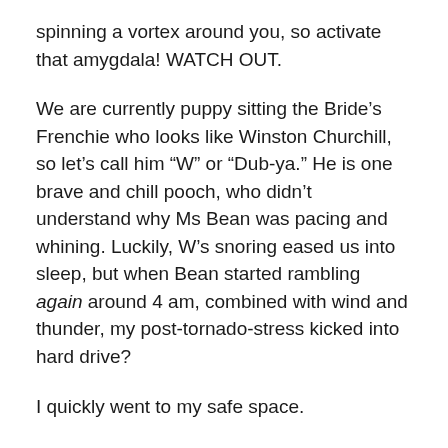spinning a vortex around you, so activate that amygdala! WATCH OUT.
We are currently puppy sitting the Bride’s Frenchie who looks like Winston Churchill, so let’s call him “W” or “Dub-ya.” He is one brave and chill pooch, who didn’t understand why Ms Bean was pacing and whining. Luckily, W’s snoring eased us into sleep, but when Bean started rambling again around 4 am, combined with wind and thunder, my post-tornado-stress kicked into hard drive?
I quickly went to my safe space.
Nope, I wish. We don’t have a safe space in this city farmhouse flanked by an apartment construction zone with flapping tarps and yellow crime tape strung like party lights.